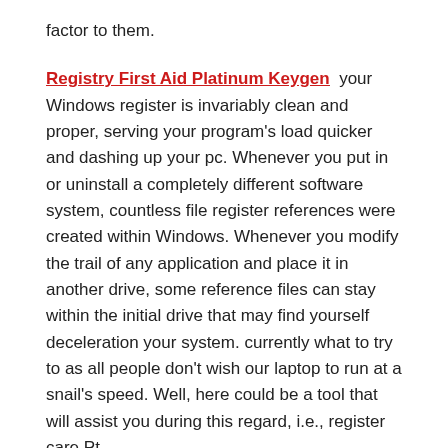factor to them.
Registry First Aid Platinum Keygen  your Windows register is invariably clean and proper, serving your program’s load quicker and dashing up your pc. Whenever you put in or uninstall a completely different software system, countless file register references were created within Windows. Whenever you modify the trail of any application and place it in another drive, some reference files can stay within the initial drive that may find yourself deceleration your system. currently what to try to as all people don’t wish our laptop to run at a snail’s speed. Well, here could be a tool that will assist you during this regard, i.e., register care Pt.